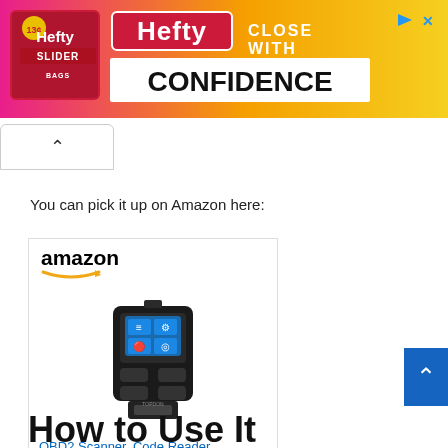[Figure (illustration): Hefty Slider Bags advertisement banner with pink-to-yellow gradient background, Hefty logo with slider bag product image, text reading 'CLOSE WITH CONFIDENCE']
You can pick it up on Amazon here:
[Figure (screenshot): Amazon product card showing an OBD2 Scanner / Code Reader device, priced at $29.99 with Prime badge, and a 'Shop now' button]
How to Use It